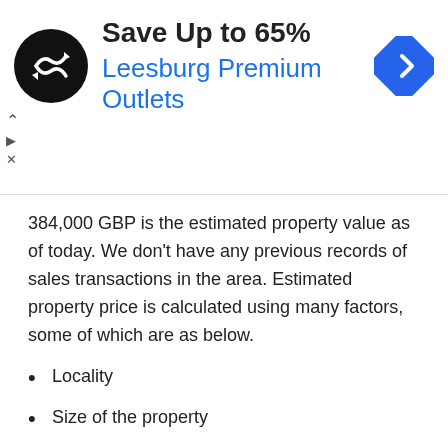[Figure (infographic): Advertisement banner: black circular logo with infinite/arrow symbol, text 'Save Up to 65%' in bold black, 'Leesburg Premium Outlets' in blue, blue diamond direction sign icon. Small triangle/play and X controls on the left.]
384,000 GBP is the estimated property value as of today. We don't have any previous records of sales transactions in the area. Estimated property price is calculated using many factors, some of which are as below.
Locality
Size of the property
Type of property
Facilities in and around the property
Distance from road
Parking
Neighborhood